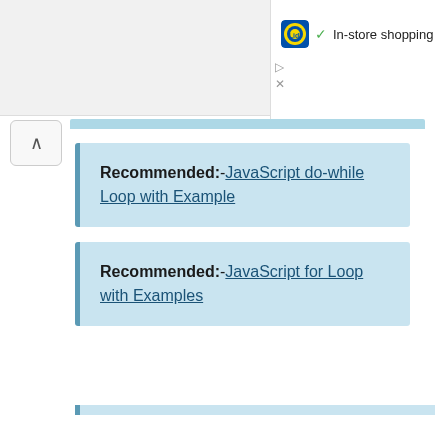[Figure (screenshot): Lidl logo with checkmark and 'In-store shopping' text in top right panel]
Recommended:-JavaScript do-while Loop with Example
Recommended:-JavaScript for Loop with Examples